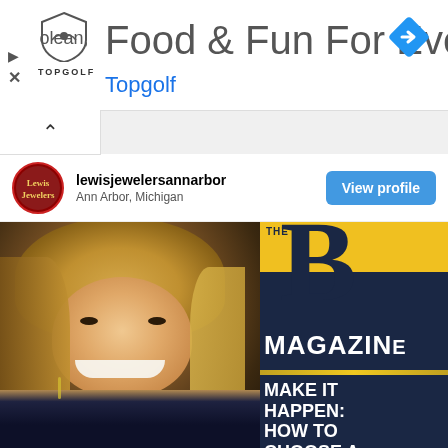[Figure (screenshot): Topgolf advertisement banner at top of page with shield logo, text 'Food & Fun For Everyone', subtitle 'Topgolf', blue navigation diamond icon, play and close icons on left]
[Figure (screenshot): Instagram-style card with collapse arrow button, lewisjewelersannarbor profile from Ann Arbor Michigan with avatar and View profile blue button, followed by a photo of a smiling blonde woman wearing jewelry and a navy top next to a cropped magazine cover showing 'THE B MAGAZINE' with headlines 'MAKE IT HAPPEN: HOW TO CHOOSE A SIMPLER...', 'WHAT ARE YOU MAD...' and 'THE POW OF PURPO']